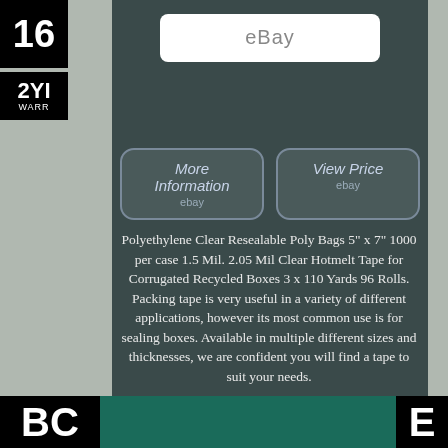[Figure (screenshot): eBay logo box at top center]
[Figure (other): Number 16 badge (black square, white text) top left]
[Figure (other): 2 Year Warranty badge (black square, white text) left side]
More Information
ebay
View Price
ebay
Polyethylene Clear Resealable Poly Bags 5" x 7" 1000 per case 1.5 Mil. 2.05 Mil Clear Hotmelt Tape for Corrugated Recycled Boxes 3 x 110 Yards 96 Rolls. Packing tape is very useful in a variety of different applications, however its most common use is for sealing boxes. Available in multiple different sizes and thicknesses, we are confident you will find a tape to suit your needs.
It is similar to acrylic, however this tape comes with a higher adhesive and superior holding strength. This tape will stick to almost any surface and will not dry or peel. This tape works great in a wide range of temperature, and is ideal for sealing, strapping, bundling and holding. For
[Figure (other): BC badge bottom left black square white text]
[Figure (other): E badge bottom right black square white text]